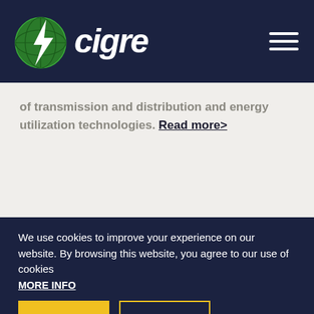CIGRE
of transmission and distribution and energy utilization technologies. Read more>
[Figure (photo): Dark teal background image showing electrical engineering equipment]
We use cookies to improve your experience on our website. By browsing this website, you agree to our use of cookies MORE INFO
ACCEPT
NO